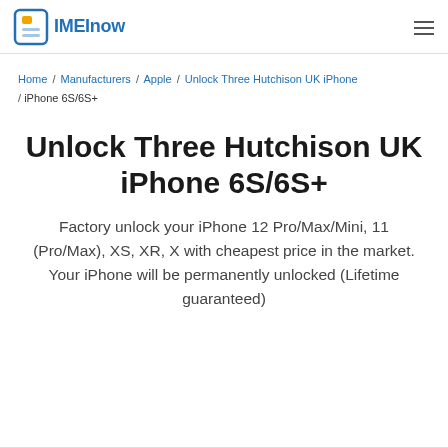IMEInow
Home / Manufacturers / Apple / Unlock Three Hutchison UK iPhone / iPhone 6S/6S+
Unlock Three Hutchison UK iPhone 6S/6S+
Factory unlock your iPhone 12 Pro/Max/Mini, 11 (Pro/Max), XS, XR, X with cheapest price in the market. Your iPhone will be permanently unlocked (Lifetime guaranteed)